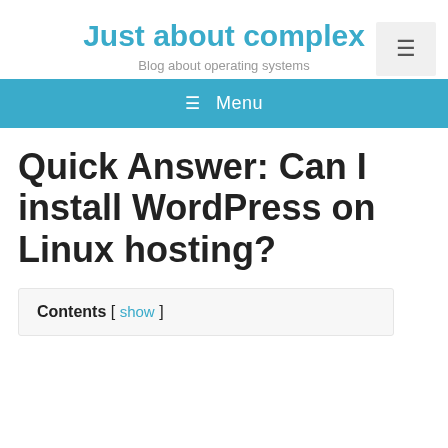Just about complex
Blog about operating systems
≡ Menu
Quick Answer: Can I install WordPress on Linux hosting?
Contents [ show ]